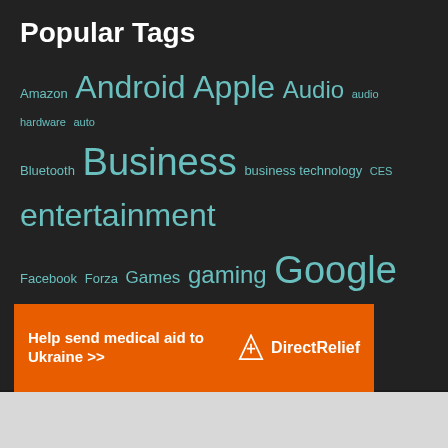Popular Tags
Amazon Android Apple Audio audio hardware auto Bluetooth Business business technology CES entertainment Facebook Forza Games gaming Google Headphones iOS iphone Kickstarter Laptop Lenovo Marvel Microsoft Mobile movies music Netflix Netflix Canada Playstation 4 Privacy Razer Review Reviews Samsung Security Smartphone Sony Star Wars tech technology TV Windows 10 Xi Xbox One
[Figure (infographic): Direct Relief banner ad: orange background with text 'Help send medical aid to Ukraine >>' and Direct Relief logo on right side]